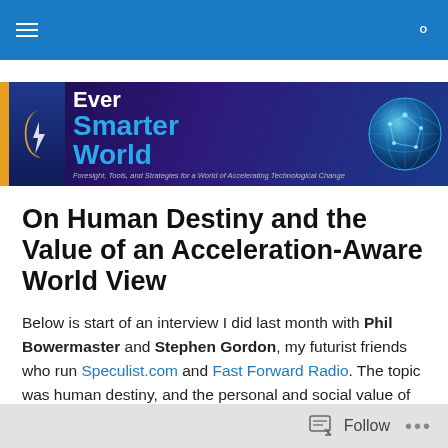Ever Smarter World — navigation bar
[Figure (logo): Ever Smarter World website banner logo with globe graphic and tagline: Foresight, Tools, and Strategies for a World of Accelerating Technological Change]
On Human Destiny and the Value of an Acceleration-Aware World View
Below is start of an interview I did last month with Phil Bowermaster and Stephen Gordon, my futurist friends who run Speculist.com and Fast Forward Radio. The topic was human destiny, and the personal and social value of
Follow